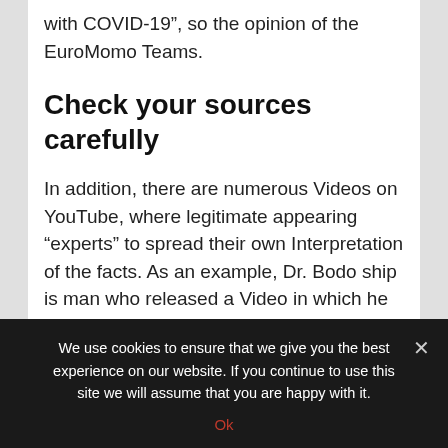with COVID-19”, so the opinion of the EuroMomo Teams.
Check your sources carefully
In addition, there are numerous Videos on YouTube, where legitimate appearing “experts” to spread their own Interpretation of the facts. As an example, Dr. Bodo ship is man who released a Video in which he claims that the prestigious journal “New England Journal of Medicine” have declared that the
We use cookies to ensure that we give you the best experience on our website. If you continue to use this site we will assume that you are happy with it.
Ok